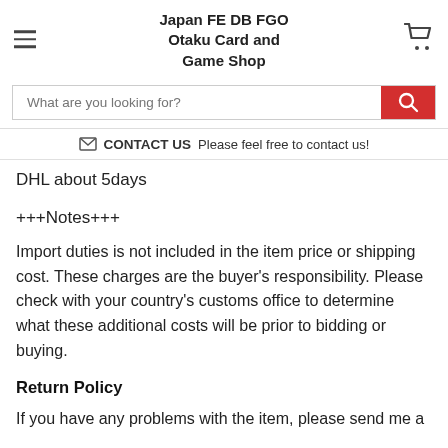Japan FE DB FGO Otaku Card and Game Shop
What are you looking for?
✉ CONTACT US Please feel free to contact us!
DHL about 5days
+++Notes+++
Import duties is not included in the item price or shipping cost. These charges are the buyer's responsibility. Please check with your country's customs office to determine what these additional costs will be prior to bidding or buying.
Return Policy
If you have any problems with the item, please send me a